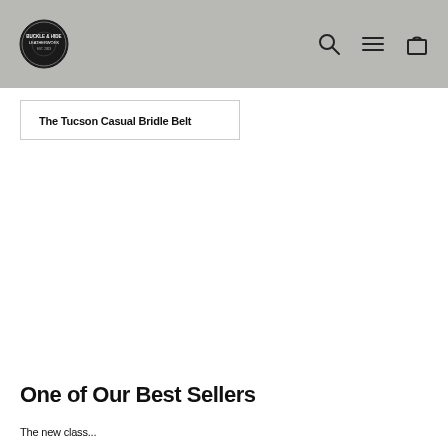Buckle & Hide Leatherwork — navigation header with logo, search, menu, and cart icons
The Tucson Casual Bridle Belt
One of Our Best Sellers
The new class...